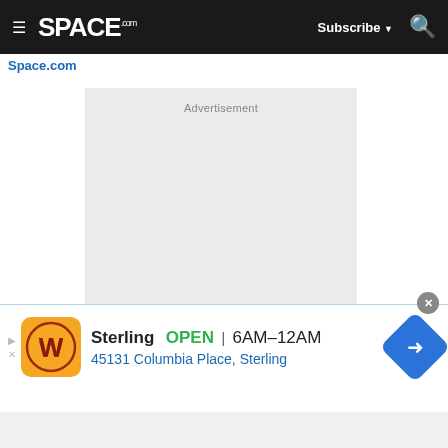SPACE.com — Subscribe | Search
Space.com
[Figure (other): Advertisement placeholder block with light grey background and 'Advertisement' label text]
[Figure (other): Wegmans store advertisement banner: Sterling OPEN 6AM-12AM, 45131 Columbia Place, Sterling]